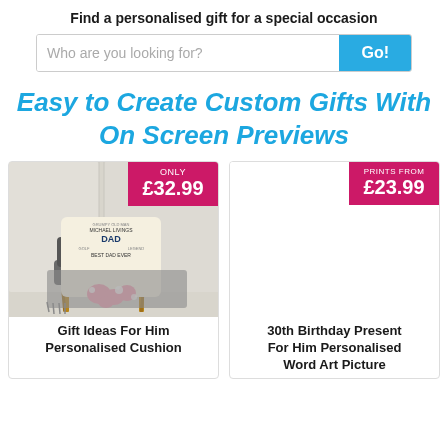Find a personalised gift for a special occasion
[Figure (screenshot): Search bar with placeholder text 'Who are you looking for?' and a blue 'Go!' button]
Easy to Create Custom Gifts With On Screen Previews
[Figure (photo): Product card showing a personalised cushion with DAD text word art on a chair with pink flowers, price badge: ONLY £32.99]
Gift Ideas For Him Personalised Cushion
[Figure (photo): Product card with price badge: PRINTS FROM £23.99, image area mostly white/blank]
30th Birthday Present For Him Personalised Word Art Picture